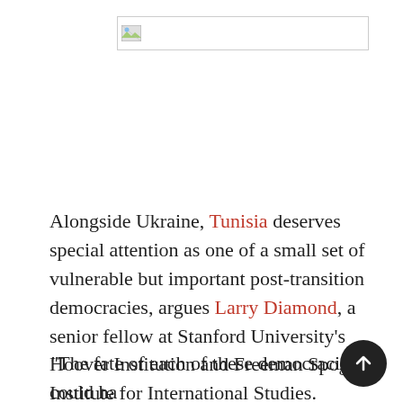[Figure (other): Broken/placeholder image in a bordered rectangle at top of page]
Alongside Ukraine, Tunisia deserves special attention as one of a small set of vulnerable but important post-transition democracies, argues Larry Diamond, a senior fellow at Stanford University's Hoover Institution and Freeman Spogli Institute for International Studies.
“The fate of each of these democracies could have significant implications for the future of democracy